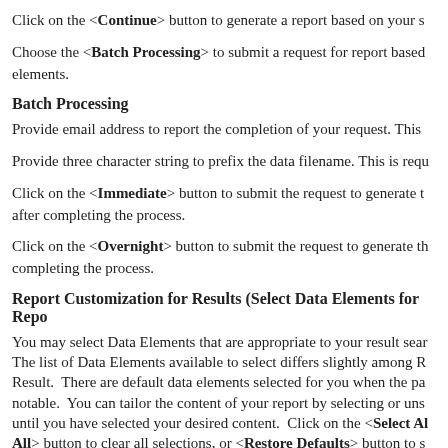Click on the <Continue> button to generate a report based on your s
Choose the <Batch Processing> to submit a request for report based elements.
Batch Processing
Provide email address to report the completion of your request. This
Provide three character string to prefix the data filename. This is requ
Click on the <Immediate> button to submit the request to generate t after completing the process.
Click on the <Overnight> button to submit the request to generate th completing the process.
Report Customization for Results (Select Data Elements for Repo
You may select Data Elements that are appropriate to your result sear The list of Data Elements available to select differs slightly among R Result. There are default data elements selected for you when the pa notable. You can tailor the content of your report by selecting or uns until you have selected your desired content. Click on the <Select Al All> button to clear all selections, or <Restore Defaults> button to s elements. Some of the displayed Data Elements are actually Group E ata Element and if selected they will